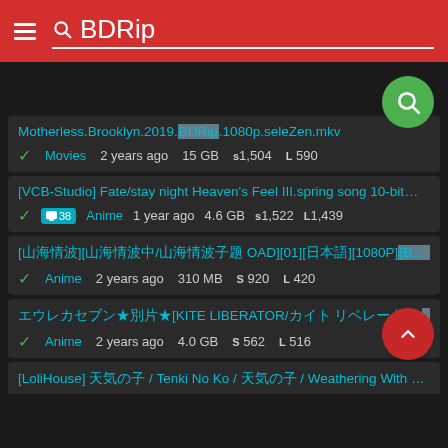BDRip
Motherless.Brooklyn.2019.BDRip.1080p.seleZen.mkv | Movies | 2 years ago | 15 GB | S 1,504 | L 590
[VCB-Studio] Fate/stay night Heaven's Feel III.spring song 10-bit... | Anime | 1 year ago | 4.6 GB | S 1,522 | L 1,439 | 38 comments
[Japanese] OAD[01][Japanese][1080P][BDRip][MP4] | Anime | 2 years ago | 310 MB | S 920 | L 420
Japanese★something★[KITE LIBERATOR/...][BDRip][1080p][Japanese] | Anime | 2 years ago | 4.0 GB | S 562 | L 516
[LoliHouse] Japanese / Tenki No Ko / Japanese / Weathering With You BDRip...